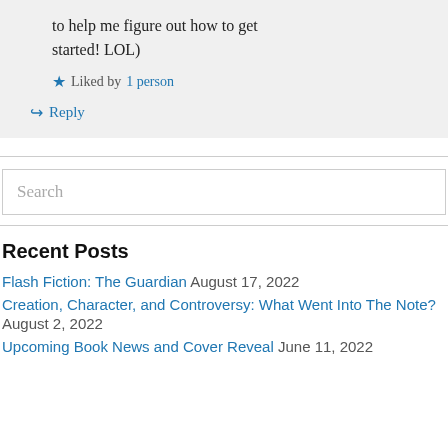to help me figure out how to get started! LOL)
★ Liked by 1 person
↳ Reply
Search
Recent Posts
Flash Fiction: The Guardian August 17, 2022
Creation, Character, and Controversy: What Went Into The Note? August 2, 2022
Upcoming Book News and Cover Reveal June 11, 2022